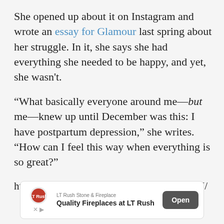She opened up about it on Instagram and wrote an essay for Glamour last spring about her struggle. In it, she says she had everything she needed to be happy, and yet, she wasn't.
“What basically everyone around me—but me—knew up until December was this: I have postpartum depression,” she writes. “How can I feel this way when everything is so great?”
https://www.instagram.com/p/BRThGeqjVEJ/
[Figure (infographic): Advertisement banner for LT Rush Stone & Fireplace with logo, text 'Quality Fireplaces at LT Rush', and an 'Open' button]